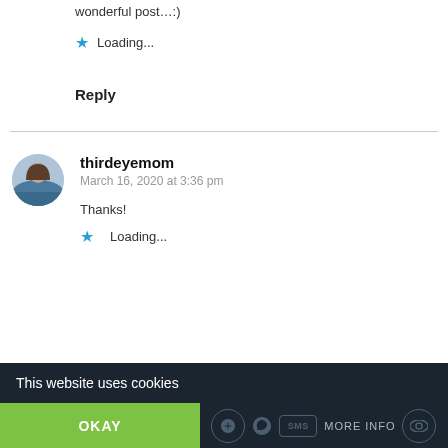wonderful post…:)
★ Loading...
Reply
thirdeyemom
March 16, 2020 at 3:36 pm
Thanks!
★ Loading...
This website uses cookies
OKAY
MORE INFO